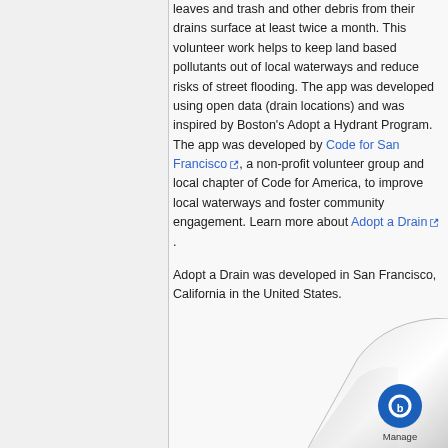leaves and trash and other debris from their drains surface at least twice a month. This volunteer work helps to keep land based pollutants out of local waterways and reduce risks of street flooding. The app was developed using open data (drain locations) and was inspired by Boston's Adopt a Hydrant Program. The app was developed by Code for San Francisco, a non-profit volunteer group and local chapter of Code for America, to improve local waterways and foster community engagement. Learn more about Adopt a Drain.
Adopt a Drain was developed in San Francisco, California in the United States.